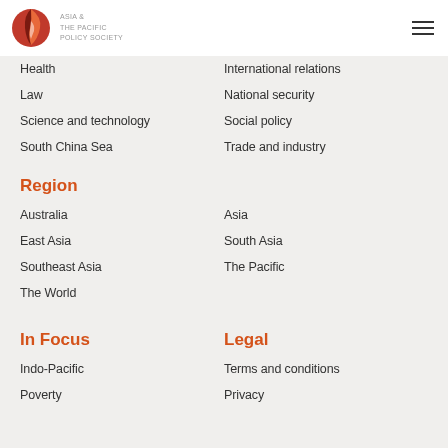Asia & The Pacific Policy Society
Health
International relations
Law
National security
Science and technology
Social policy
South China Sea
Trade and industry
Region
Australia
Asia
East Asia
South Asia
Southeast Asia
The Pacific
The World
In Focus
Legal
Indo-Pacific
Terms and conditions
Poverty
Privacy